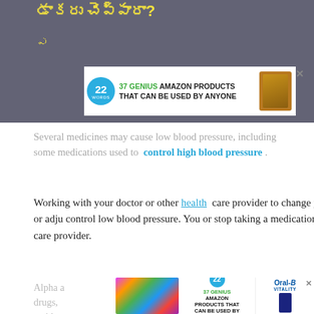[Figure (screenshot): Top banner with Telugu script text in yellow on dark background, and an advertisement overlay for '37 Genius Amazon Products That Can Be Used By Anyone' with a '22 Words' circular logo and product image]
Several medicines may cause low blood pressure, including some medications used to control high blood pressure .
Working with your doctor or other health care provider to change your medication or adjust the dose may help control low blood pressure. You should not change or stop taking a medication without talking to your health care provider.
Alpha a... drugs, ... antide...
[Figure (screenshot): Bottom advertisement showing scrunchies, 22 Words logo with '37 Genius Amazon Products That Can Be Used By Anyone', and Oral-B Vitality toothbrush ad]